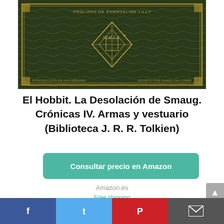[Figure (photo): Book cover of El Hobbit La Desolación de Smaug Crónicas IV with dark green ornate design, gold borders, text 'PRÓLOGO DE EVANGELINE LILLY', WETA logo, and author/introducer names]
El Hobbit. La Desolación de Smaug. Crónicas IV. Armas y vestuario (Biblioteca J. R. R. Tolkien)
[Figure (other): Teal/green rounded rectangle button with text 'Consultar precio en Amazon']
Amazon.es
Free shipping
[Figure (photo): Second book cover showing a fantasy creature/dragon against grey background]
[Figure (other): Social media share bar at bottom with Facebook, Twitter, Pinterest and Email icons]